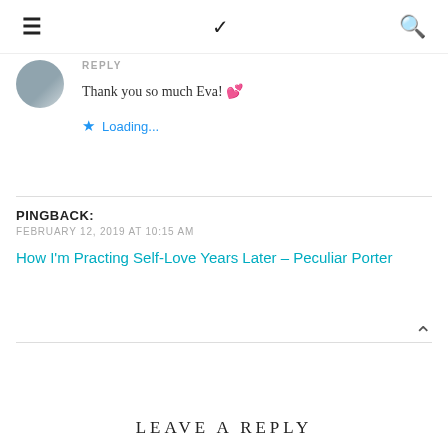≡  ∨  🔍
REPLY
Thank you so much Eva! 💕
★ Loading...
PINGBACK:
FEBRUARY 12, 2019 AT 10:15 AM
How I'm Practing Self-Love Years Later – Peculiar Porter
LEAVE A REPLY